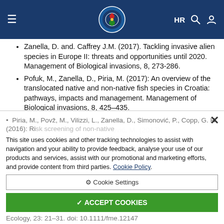HR [navigation icons]
Zanella, D. and. Caffrey J.M. (2017). Tackling invasive alien species in Europe II: threats and opportunities until 2020. Management of Biological invasions, 8, 273-286.
Pofuk, M., Zanella, D., Piria, M. (2017): An overview of the translocated native and non-native fish species in Croatia: pathways, impacts and management. Management of Biological invasions, 8, 425–435.
Simonović, P. Piria, M., Zuliani, T., Ilić, M., Marinković, N., Kračan-Kolarević, M., Paunović, M. (2017): ... environment, 574, 264-271.
Piria, M., Povž, M., Vilizzi, L., Zanella, D., Simonović, P., Copp, G. H. (2016): Risk screening of non-native freshwater fish... Ecology, 23: 21–31. doi: 10.1111/fme.12147
Cookie notice: This site uses cookies and other tracking technologies to assist with navigation and your ability to provide feedback, analyse your use of our products and services, assist with our promotional and marketing efforts, and provide content from third parties. Cookie Policy.